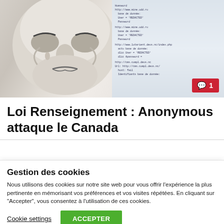[Figure (photo): Photo of a Guy Fawkes (Anonymous) mask on the left side, with a computer screen showing database credentials/code on the right side. A red comment badge showing '1' is in the bottom-right corner of the image.]
Loi Renseignement : Anonymous attaque le Canada
Gestion des cookies
Nous utilisons des cookies sur notre site web pour vous offrir l'expérience la plus pertinente en mémorisant vos préférences et vos visites répétées. En cliquant sur "Accepter", vous consentez à l'utilisation de ces cookies.
Cookie settings  ACCEPTER